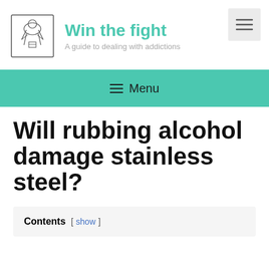[Figure (illustration): Hand-drawn logo illustration of a person or figure in a box/frame, line art style]
Win the fight
A guide to dealing with addictions
[Figure (other): Hamburger menu toggle button with three horizontal lines]
☰ Menu
Will rubbing alcohol damage stainless steel?
Contents [ show ]